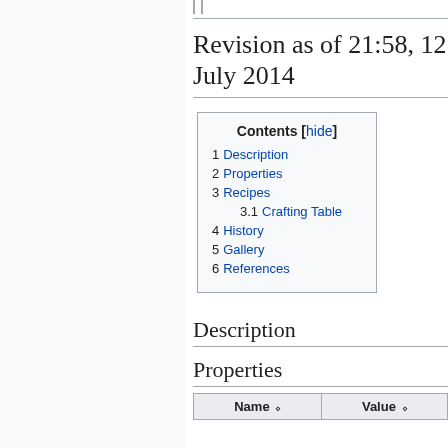Revision as of 21:58, 12 July 2014
| Contents [hide] |
| --- |
| 1  Description |
| 2  Properties |
| 3  Recipes |
| 3.1  Crafting Table |
| 4  History |
| 5  Gallery |
| 6  References |
Description
Properties
| Name ◆ | Value ◆ |
| --- | --- |